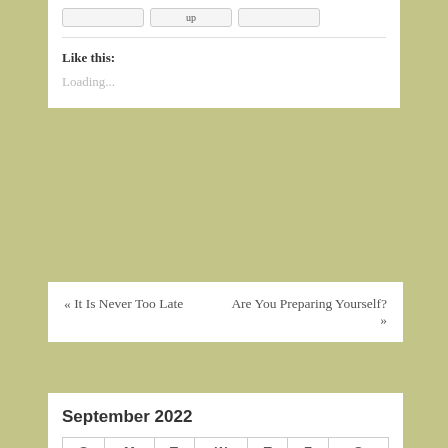Like this:
Loading...
« It Is Never Too Late
Are You Preparing Yourself? »
September 2022
| S | M | T | W | T | F | S |
| --- | --- | --- | --- | --- | --- | --- |
|  |  |  |  | 1 | 2 | 3 |
| 4 | 5 | 6 | 7 | 8 | 9 | 10 |